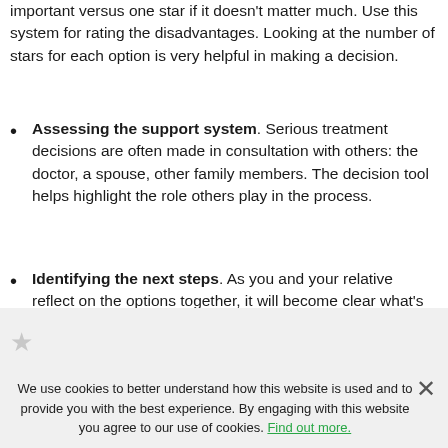important versus one star if it doesn't matter much. Use this system for rating the disadvantages. Looking at the number of stars for each option is very helpful in making a decision.
Assessing the support system. Serious treatment decisions are often made in consultation with others: the doctor, a spouse, other family members. The decision tool helps highlight the role others play in the process.
Identifying the next steps. As you and your relative reflect on the options together, it will become clear what's missing. Maybe you need more information. Perhaps your family member wants to talk with others who have made the same choice.
We use cookies to better understand how this website is used and to provide you with the best experience. By engaging with this website you agree to our use of cookies. Find out more.